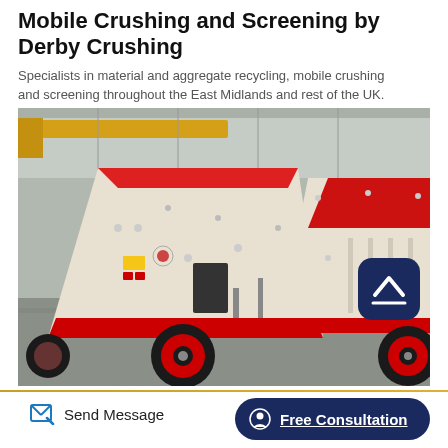Mobile Crushing and Screening by Derby Crushing
Specialists in material and aggregate recycling, mobile crushing and screening throughout the East Midlands and rest of the UK.
[Figure (photo): Photograph of two large white and red industrial mobile impact crushers on wheels inside a factory/warehouse, with a yellow overhead crane visible in the background. Machines have red warning labels and black rubber wheels.]
Send Message
Free Consultation